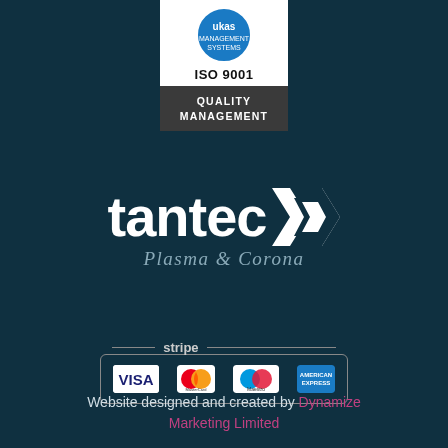[Figure (logo): ISO 9001 Quality Management certification badge with blue circle logo on top and dark grey bottom section]
[Figure (logo): Tantec logo with white bold text 'tantec' and white geometric arrow/flag icon, subtitle 'Plasma & Corona' in light italic text]
[Figure (logo): Stripe payment methods box showing VISA, MasterCard, Maestro, and American Express card logos inside a rounded border with 'stripe' label]
Website designed and created by Dynamize Marketing Limited